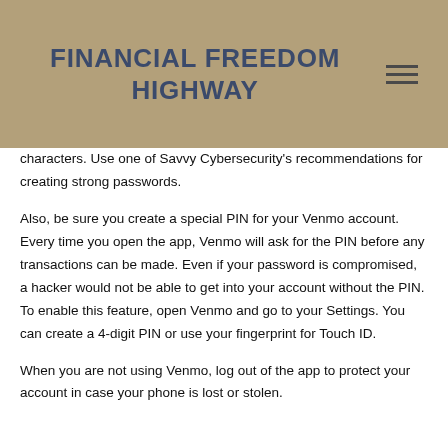FINANCIAL FREEDOM HIGHWAY
characters. Use one of Savvy Cybersecurity's recommendations for creating strong passwords.
Also, be sure you create a special PIN for your Venmo account. Every time you open the app, Venmo will ask for the PIN before any transactions can be made. Even if your password is compromised, a hacker would not be able to get into your account without the PIN. To enable this feature, open Venmo and go to your Settings. You can create a 4-digit PIN or use your fingerprint for Touch ID.
When you are not using Venmo, log out of the app to protect your account in case your phone is lost or stolen.